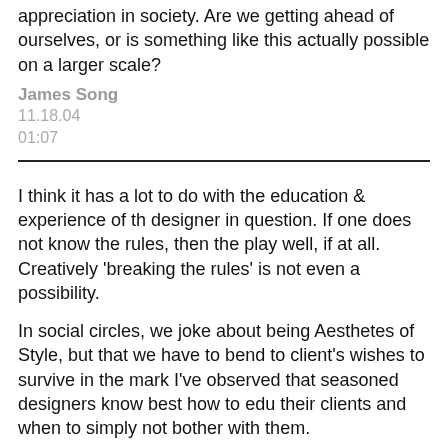appreciation in society. Are we getting ahead of ourselves, or is something like this actually possible on a larger scale?
James Song
11.18.04
01:07
I think it has a lot to do with the education & experience of the designer in question. If one does not know the rules, then they can't play well, if at all. Creatively 'breaking the rules' is not even a possibility.
In social circles, we joke about being Aesthetes of Style, but the truth is that we have to bend to client's wishes to survive in the marketplace. I've observed that seasoned designers know best how to educate their clients and when to simply not bother with them.
Ben Bertrand
11.18.04
01:28
Ah, poignant. I've always felt like an island of neutrality in a sea of aethetes (::cough::design snobs::cough::). I've always been